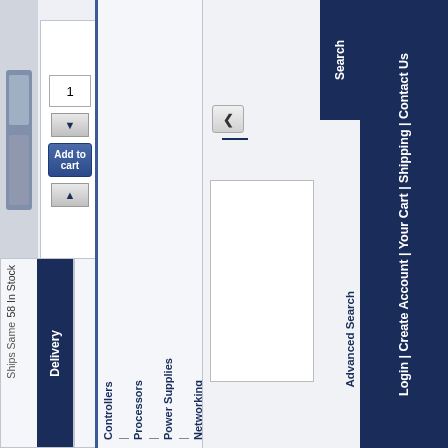Login | Create Account | Your Cart | Shipping | Contact Us
Advanced Search
Controllers | Processors | Power Supplies | Networking
Manufacturer
Product ID: 712416
Free Shipping
[ More products like this ]
58 In Stock   Ships Same
Delivery
Toll Free
866.252.9743
Search